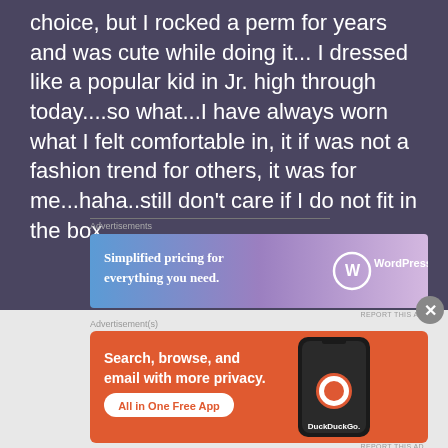choice, but I rocked a perm for years and was cute while doing it... I dressed like a popular kid in Jr. high through today....so what...I have always worn what I felt comfortable in, it if was not a fashion trend for others, it was for me...haha..still don't care if I do not fit in the box...
[Figure (screenshot): WordPress.com advertisement banner: 'Simplified pricing for everything you need.' with WordPress logo]
[Figure (screenshot): DuckDuckGo advertisement banner: 'Search, browse, and email with more privacy. All in One Free App' with DuckDuckGo logo and phone mockup]